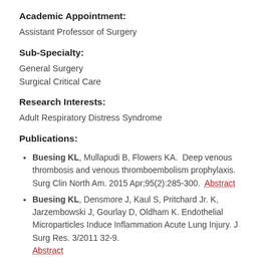Academic Appointment:
Assistant Professor of Surgery
Sub-Specialty:
General Surgery
Surgical Critical Care
Research Interests:
Adult Respiratory Distress Syndrome
Publications:
Buesing KL, Mullapudi B, Flowers KA.  Deep venous thrombosis and venous thromboembolism prophylaxis.  Surg Clin North Am. 2015 Apr;95(2):285-300.  Abstract
Buesing KL, Densmore J, Kaul S, Pritchard Jr. K, Jarzembowski J, Gourlay D, Oldham K. Endothelial Microparticles Induce Inflammation Acute Lung Injury. J Surg Res. 3/2011 32-9. Abstract